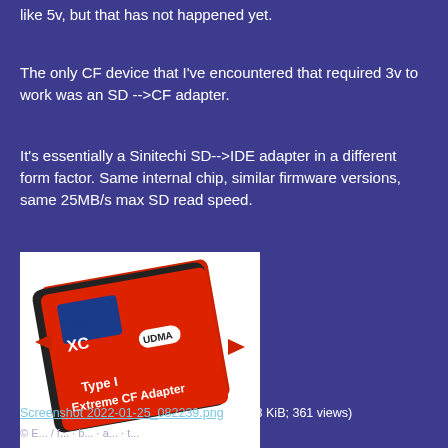like 5v, but that has not happened yet.
The only CF device that I've encountered that required 3v to work was an SD -->CF adapter.
It's essentially a Sinitechi SD-->IDE adapter in a different form factor. Same internal chip, similar firmware versions, same 25MB/s max SD read speed.
[Figure (photo): A red SD XC Type I Extreme CF Adapter (UDMA) with black casing, shown at an angle with red arrows pointing to the sides.]
Screenshot 2022-01-25_082239.png (54.58 KiB; 361 views)
© E... / f... · b... · a... · t...